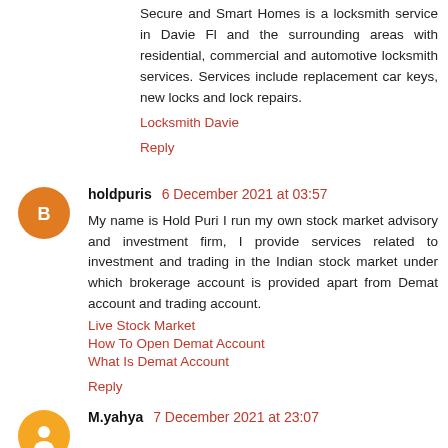Secure and Smart Homes is a locksmith service in Davie Fl and the surrounding areas with residential, commercial and automotive locksmith services. Services include replacement car keys, new locks and lock repairs.
Locksmith Davie
Reply
holdpuris 6 December 2021 at 03:57
My name is Hold Puri I run my own stock market advisory and investment firm, I provide services related to investment and trading in the Indian stock market under which brokerage account is provided apart from Demat account and trading account.
Live Stock Market
How To Open Demat Account
What Is Demat Account
Reply
M.yahya 7 December 2021 at 23:07